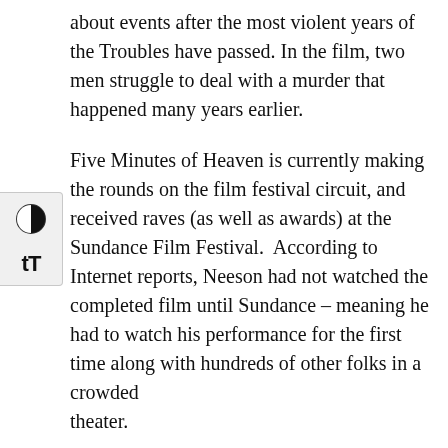about events after the most violent years of the Troubles have passed. In the film, two men struggle to deal with a murder that happened many years earlier.
Five Minutes of Heaven is currently making the rounds on the film festival circuit, and received raves (as well as awards) at the Sundance Film Festival. According to Internet reports, Neeson had not watched the completed film until Sundance – meaning he had to watch his performance for the first time along with hundreds of other folks in a crowded theater.